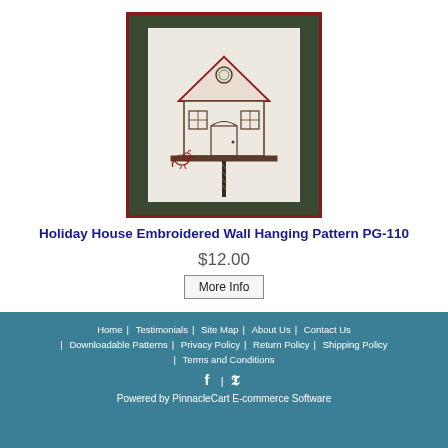[Figure (photo): Photo of a birdhouse embroidery pattern on light fabric, showing a holiday birdhouse with a cardinal, on a striped pole, mounted on dark green background with dark red border.]
Holiday House Embroidered Wall Hanging Pattern PG-110
$12.00
More Info
Home | Testimonials | Site Map | About Us | Contact Us | Downloadable Patterns | Privacy Policy | Return Policy | Shipping Policy | Terms and Conditions
f | P
Powered by PinnacleCart E-commerce Software